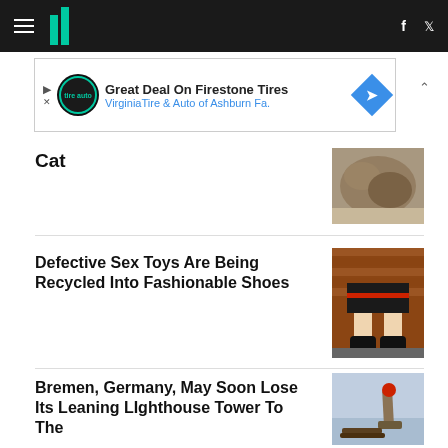HuffPost navigation with hamburger menu, logo, Facebook and Twitter icons
[Figure (other): Advertisement banner: Great Deal On Firestone Tires – VirginiaTire & Auto of Ashburn Fa.]
Cat
[Figure (photo): Close-up photo of a cat]
Defective Sex Toys Are Being Recycled Into Fashionable Shoes
[Figure (photo): Photo of person wearing black shoes and black skirt with red stripe, against brick wall]
Bremen, Germany, May Soon Lose Its Leaning LIghthouse Tower To The